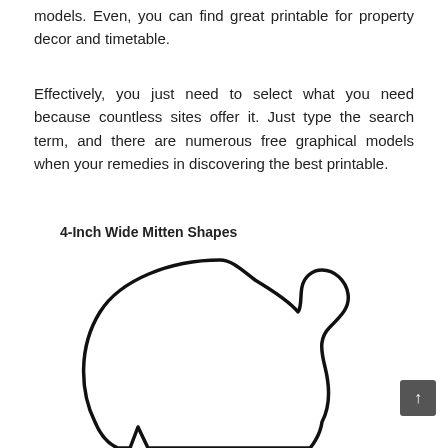models. Even, you can find great printable for property decor and timetable.
Effectively, you just need to select what you need because countless sites offer it. Just type the search term, and there are numerous free graphical models when your remedies in discovering the best printable.
4-Inch Wide Mitten Shapes
[Figure (illustration): Outline drawing of a mitten shape — a large rounded body with a small thumb bump on the upper right, and two narrow finger/cuff extensions visible at the bottom.]